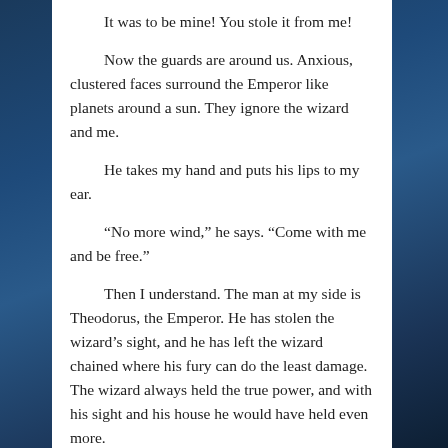It was to be mine! You stole it from me!

Now the guards are around us. Anxious, clustered faces surround the Emperor like planets around a sun. They ignore the wizard and me.

He takes my hand and puts his lips to my ear.

“No more wind,” he says. “Come with me and be free.”

Then I understand. The man at my side is Theodorus, the Emperor. He has stolen the wizard’s sight, and he has left the wizard chained where his fury can do the least damage. The wizard always held the true power, and with his sight and his house he would have held even more.

This was a trap of the Emperor’s devising.

We are halfway across the verdant lawn when